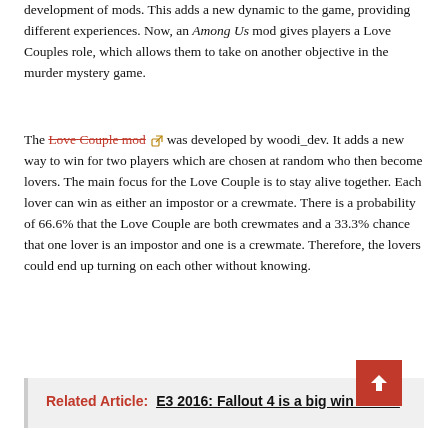development of mods. This adds a new dynamic to the game, providing different experiences. Now, an Among Us mod gives players a Love Couples role, which allows them to take on another objective in the murder mystery game.
The Love Couple mod was developed by woodi_dev. It adds a new way to win for two players which are chosen at random who then become lovers. The main focus for the Love Couple is to stay alive together. Each lover can win as either an impostor or a crewmate. There is a probability of 66.6% that the Love Couple are both crewmates and a 33.3% chance that one lover is an impostor and one is a crewmate. Therefore, the lovers could end up turning on each other without knowing.
Related Article: E3 2016: Fallout 4 is a big win for VR